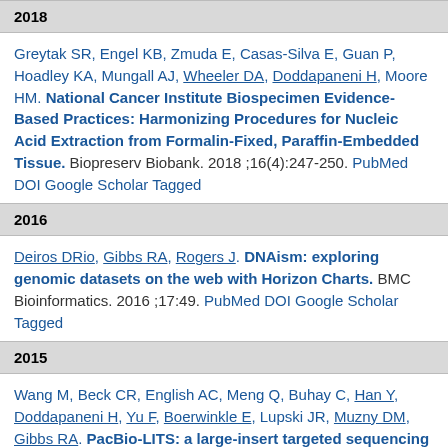2018
Greytak SR, Engel KB, Zmuda E, Casas-Silva E, Guan P, Hoadley KA, Mungall AJ, Wheeler DA, Doddapaneni H, Moore HM. National Cancer Institute Biospecimen Evidence-Based Practices: Harmonizing Procedures for Nucleic Acid Extraction from Formalin-Fixed, Paraffin-Embedded Tissue. Biopreserv Biobank. 2018 ;16(4):247-250. PubMed DOI Google Scholar Tagged
2016
Deiros DRio, Gibbs RA, Rogers J. DNAism: exploring genomic datasets on the web with Horizon Charts. BMC Bioinformatics. 2016 ;17:49. PubMed DOI Google Scholar Tagged
2015
Wang M, Beck CR, English AC, Meng Q, Buhay C, Han Y, Doddapaneni H, Yu F, Boerwinkle E, Lupski JR, Muzny DM, Gibbs RA. PacBio-LITS: a large-insert targeted sequencing method for characterization of human con...